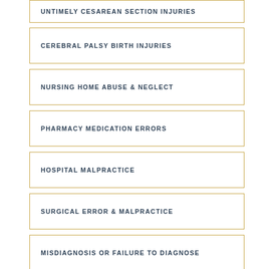UNTIMELY CESAREAN SECTION INJURIES
CEREBRAL PALSY BIRTH INJURIES
NURSING HOME ABUSE & NEGLECT
PHARMACY MEDICATION ERRORS
HOSPITAL MALPRACTICE
SURGICAL ERROR & MALPRACTICE
MISDIAGNOSIS OR FAILURE TO DIAGNOSE
TYPES OF MEDICAL MALPRACTICE CASES